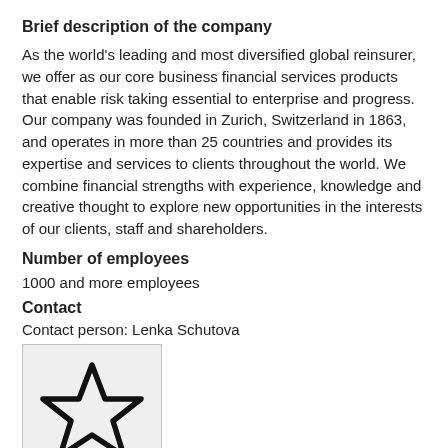Brief description of the company
As the world's leading and most diversified global reinsurer, we offer as our core business financial services products that enable risk taking essential to enterprise and progress. Our company was founded in Zurich, Switzerland in 1863, and operates in more than 25 countries and provides its expertise and services to clients throughout the world. We combine financial strengths with experience, knowledge and creative thought to explore new opportunities in the interests of our clients, staff and shareholders.
Number of employees
1000 and more employees
Contact
Contact person: Lenka Schutova
[Figure (illustration): A star icon (outline only, unfilled) inside a light grey bordered box, with 'Save job offer' text to the right.]